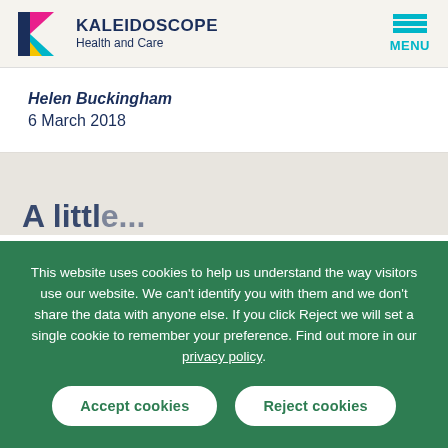[Figure (logo): Kaleidoscope Health and Care logo with colorful K symbol and menu icon]
Helen Buckingham
6 March 2018
This website uses cookies to help us understand the way visitors use our website. We can't identify you with them and we don't share the data with anyone else. If you click Reject we will set a single cookie to remember your preference. Find out more in our privacy policy.
Accept cookies | Reject cookies